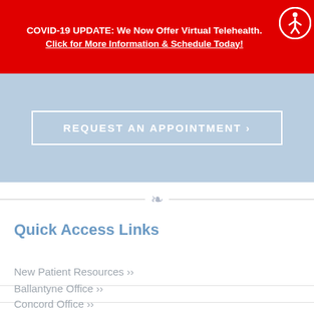COVID-19 UPDATE: We Now Offer Virtual Telehealth. Click for More Information & Schedule Today!
[Figure (screenshot): Blue background area with 'REQUEST AN APPOINTMENT' button in white outlined box]
Quick Access Links
New Patient Resources »
Ballantyne Office »
Concord Office »
Harrisburg Office »